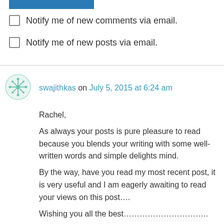[Figure (other): Blue horizontal bar/button at top]
Notify me of new comments via email.
Notify me of new posts via email.
swajithkas on July 5, 2015 at 6:24 am
Rachel,
As always your posts is pure pleasure to read because you blends your writing with some well-written words and simple delights mind.
By the way, have you read my most recent post, it is very useful and I am eagerly awaiting to read your views on this post....
Wishing you all the best………………………..
Like